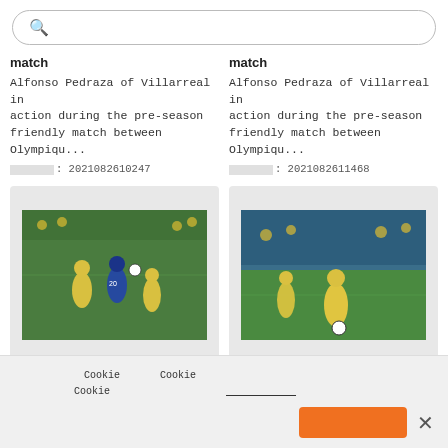Search bar with placeholder text (Japanese characters)
match

Alfonso Pedraza of Villarreal in action during the pre-season friendly match between Olympiqu...

画像ID: 2021082610247
match

Alfonso Pedraza of Villarreal in action during the pre-season friendly match between Olympiqu...

画像ID: 2021082611468
[Figure (photo): Soccer match photo: players in yellow and blue jerseys competing for the ball on a green field]
[Figure (photo): Soccer match photo: player in yellow Villarreal jersey dribbling ball on green field]
Cookie consent banner with Japanese text about Cookie usage policy. Accept button and close button.